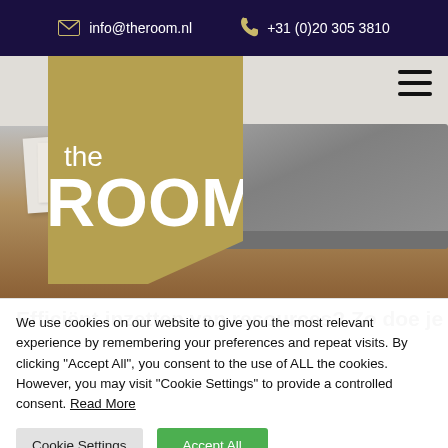info@theroom.nl   +31 (0)20 305 3810
[Figure (logo): The Room logo — golden/tan polygon shape with 'the' in small text and 'ROOM' in large bold white text. Overlaid on a hero image of a desk with laptop and papers.]
Efficiënt inzetten van resources? Zo doe je
We use cookies on our website to give you the most relevant experience by remembering your preferences and repeat visits. By clicking "Accept All", you consent to the use of ALL the cookies. However, you may visit "Cookie Settings" to provide a controlled consent. Read More